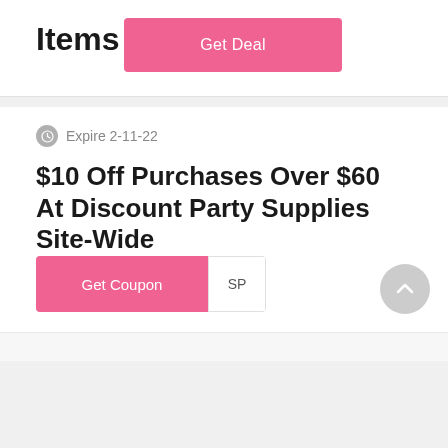Items
Get Deal
Expire 2-11-22
$10 Off Purchases Over $60 At Discount Party Supplies Site-Wide
Get Coupon  SP